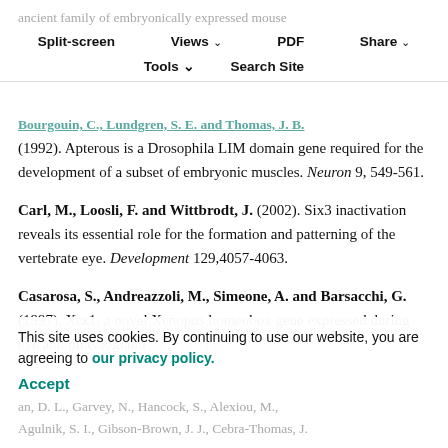ancient family of embryonically expressed mouse genes sharing a conserved protein motif with the T locus. Nat. Genet. 7, 383-389.
Split-screen  Views  PDF  Share  Tools  Search Site
Bourgouin, C., Lundgren, S. E. and Thomas, J. B. (1992). Apterous is a Drosophila LIM domain gene required for the development of a subset of embryonic muscles. Neuron 9, 549-561.
Carl, M., Loosli, F. and Wittbrodt, J. (2002). Six3 inactivation reveals its essential role for the formation and patterning of the vertebrate eye. Development 129,4057-4063.
Casarosa, S., Andreazzoli, M., Simeone, A. and Barsacchi, G.(1997). Xrx1, a novel Xenopus homeobox gene expressed during eye and pinealogland development. Mech. Dev. 61, 187-198.
This site uses cookies. By continuing to use our website, you are agreeing to our privacy policy. Accept
Chapman, D. L., Garvey, N., Hancock, S., Alexiou, M., Agulnik, S. I., Gibson-Brown, J. J., Cebra-Thomas, J.